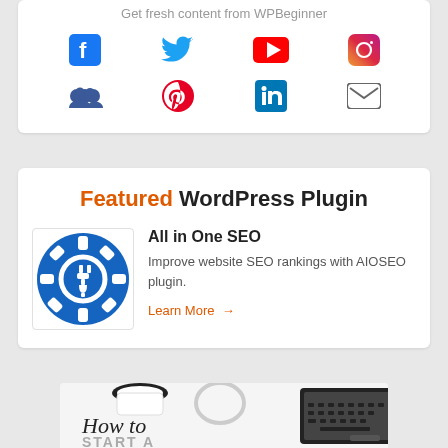Get fresh content from WPBeginner
[Figure (infographic): Social media icons grid: Facebook, Twitter, YouTube, Instagram (top row); RSS/users, Pinterest, LinkedIn, Email (bottom row)]
Featured WordPress Plugin
[Figure (logo): All in One SEO plugin logo — blue circle with gear and plug icon]
All in One SEO
Improve website SEO rankings with AIOSEO plugin.
Learn More →
[Figure (photo): Bottom banner showing a coffee cup, headphones, laptop keyboard, and 'How to START A' text in script and block letters]